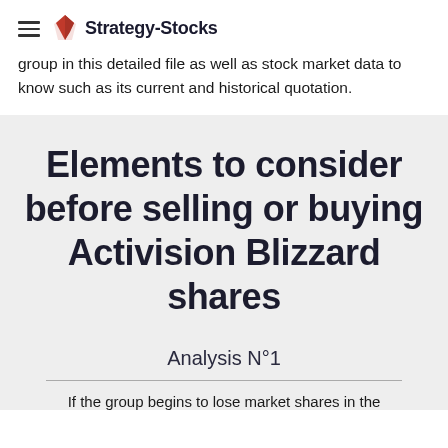Strategy-Stocks
group in this detailed file as well as stock market data to know such as its current and historical quotation.
Elements to consider before selling or buying Activision Blizzard shares
Analysis N°1
If the group begins to lose market shares in the